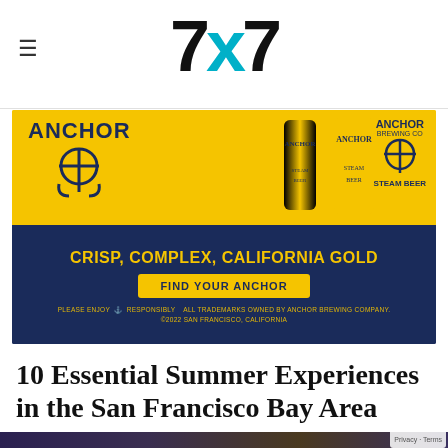7x7
[Figure (photo): Anchor Brewing advertisement banner with yellow top showing ANCHOR logo and beer cans, dark navy bottom with text CRISP, COMPLEX, CALIFORNIA GOLD and FIND YOUR ANCHOR button]
10 Essential Summer Experiences in the San Francisco Bay Area
[Figure (photo): Night scene with outdoor movie screen showing a film in front of San Francisco skyline and Victorian houses, with trees in foreground and city lights in background]